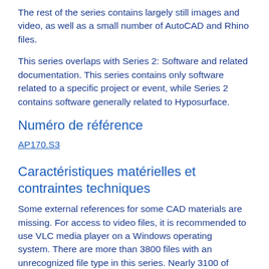The rest of the series contains largely still images and video, as well as a small number of AutoCAD and Rhino files.
This series overlaps with Series 2: Software and related documentation. This series contains only software related to a specific project or event, while Series 2 contains software generally related to Hyposurface.
Numéro de référence
AP170.S3
Caractéristiques matérielles et contraintes techniques
Some external references for some CAD materials are missing. For access to video files, it is recommended to use VLC media player on a Windows operating system. There are more than 3800 files with an unrecognized file type in this series. Nearly 3100 of these are Aegis pattern files. The remaining 700 files are largely related to other dECOi software, and also include a number of corrupted JPEG and Bitmap images.